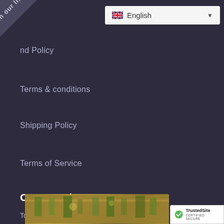[Figure (screenshot): Diagonal dark banner in top-left corner with rotated text 'Join our list']
[Figure (screenshot): Language selector dropdown showing UK flag and 'English' text with dropdown arrow]
nd Policy
Terms & conditions
Shipping Policy
Terms of Service
Our Promise
To organizes the world's Healthy products under one cranky deals shop.
[Figure (photo): Bottom partial image showing what appears to be produce or plants]
[Figure (logo): TrustedSite Certified Secure badge in bottom right corner]